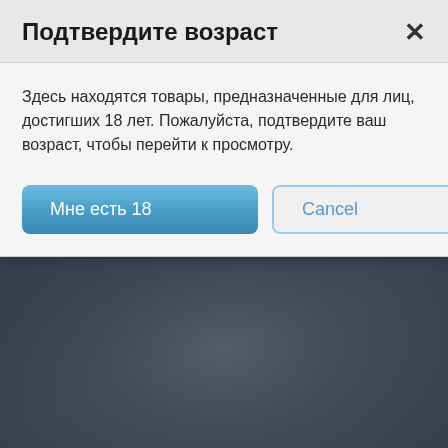Подтвердите возраст
Здесь находятся товары, предназначенные для лиц, достигших 18 лет. Пожалуйста, подтвердите ваш возраст, чтобы перейти к просмотру.
[Figure (screenshot): Blurred dark background behind age verification modal dialog]
Мне есть 18
Cancel